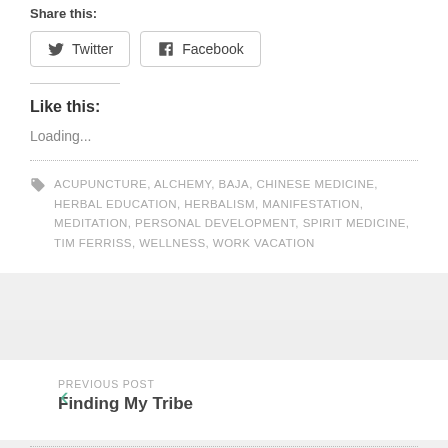Share this:
Twitter | Facebook
Like this:
Loading...
ACUPUNCTURE, ALCHEMY, BAJA, CHINESE MEDICINE, HERBAL EDUCATION, HERBALISM, MANIFESTATION, MEDITATION, PERSONAL DEVELOPMENT, SPIRIT MEDICINE, TIM FERRISS, WELLNESS, WORK VACATION
PREVIOUS POST
Finding My Tribe